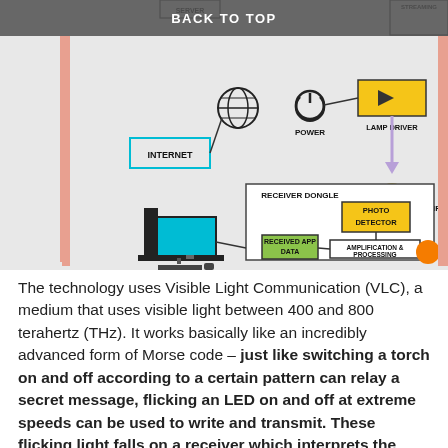[Figure (schematic): VLC (Visible Light Communication) system diagram showing: Internet box connected to a globe icon, Power button, Lamp Driver (yellow box) connected via purple arrow to LED Lamp (yellow lamp icon), Receiver Dongle box containing Photo Detector (yellow), Amplification & Processing box, and Received App Data (green box), connected to a desktop computer.]
BACK TO TOP
The technology uses Visible Light Communication (VLC), a medium that uses visible light between 400 and 800 terahertz (THz). It works basically like an incredibly advanced form of Morse code – just like switching a torch on and off according to a certain pattern can relay a secret message, flicking an LED on and off at extreme speeds can be used to write and transmit. These flicking light falls on a receiver which interprets the data (interpret in the sense the particular number of blinks